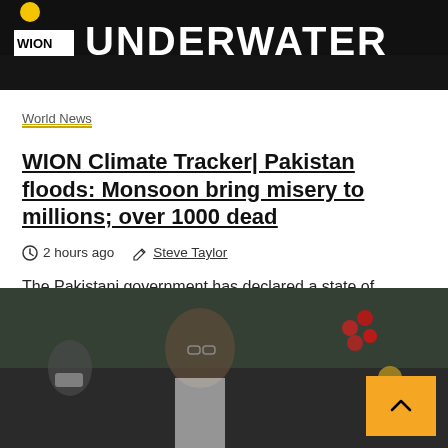[Figure (screenshot): WION news banner with text UNDERWATER on dark/black background with WION logo]
World News
WION Climate Tracker| Pakistan floods: Monsoon bring misery to millions; over 1000 dead
2 hours ago   Steve Taylor
The Pakistani government has declared a state of National Emergency after devastating floods that have led to almost about a 1000 deaths and have left...
[Figure (photo): Man with glasses at what appears to be a market or outdoor setting, with colorful produce visible in the background. Another person wearing a face mask is visible on the left.]